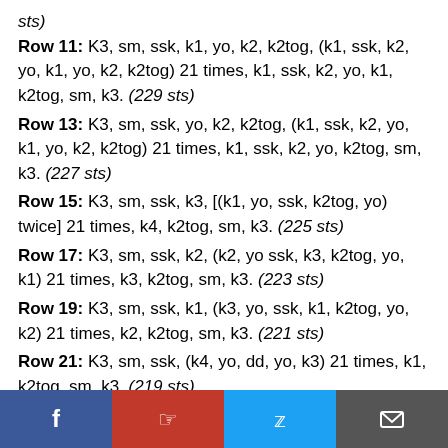sts)
Row 11: K3, sm, ssk, k1, yo, k2, k2tog, (k1, ssk, k2, yo, k1, yo, k2, k2tog) 21 times, k1, ssk, k2, yo, k1, k2tog, sm, k3. (229 sts)
Row 13: K3, sm, ssk, yo, k2, k2tog, (k1, ssk, k2, yo, k1, yo, k2, k2tog) 21 times, k1, ssk, k2, yo, k2tog, sm, k3. (227 sts)
Row 15: K3, sm, ssk, k3, [(k1, yo, ssk, k2tog, yo) twice] 21 times, k4, k2tog, sm, k3. (225 sts)
Row 17: K3, sm, ssk, k2, (k2, yo ssk, k3, k2tog, yo, k1) 21 times, k3, k2tog, sm, k3. (223 sts)
Row 19: K3, sm, ssk, k1, (k3, yo, ssk, k1, k2tog, yo, k2) 21 times, k2, k2tog, sm, k3. (221 sts)
Row 21: K3, sm, ssk, (k4, yo, dd, yo, k3) 21 times, k1, k2tog, sm, k3. (219 sts)
Row 23: K3, sm, ssk twice, k2, yo, k1, yo, k2, k2tog, (k1, ssk,